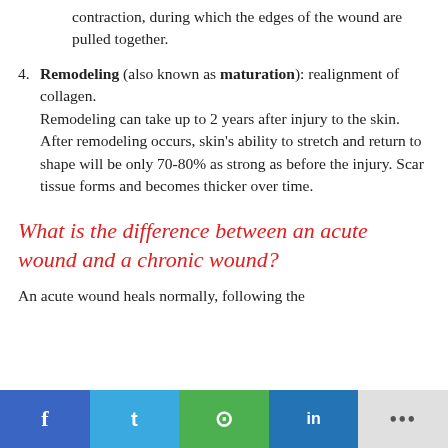contraction, during which the edges of the wound are pulled together.
4. Remodeling (also known as maturation): realignment of collagen. Remodeling can take up to 2 years after injury to the skin. After remodeling occurs, skin's ability to stretch and return to shape will be only 70-80% as strong as before the injury. Scar tissue forms and becomes thicker over time.
What is the difference between an acute wound and a chronic wound?
An acute wound heals normally, following the
f  t  [whatsapp]  in  ...